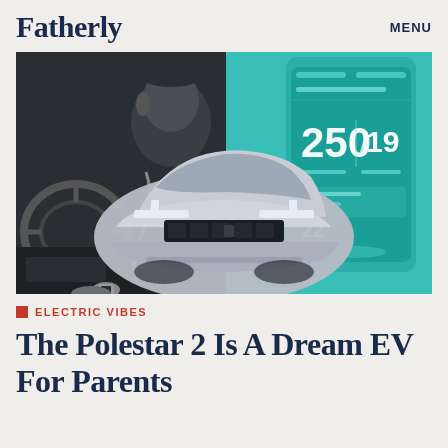Fatherly    MENU
[Figure (photo): Composite hero image: left side shows black-and-white photo of a person driving a car, center shows a silver Polestar 2 electric vehicle front view, right side shows teal-tinted smartphone interface displaying range assistant with numbers 250 and 19]
ELECTRIC VIBES
The Polestar 2 Is A Dream EV For Parents